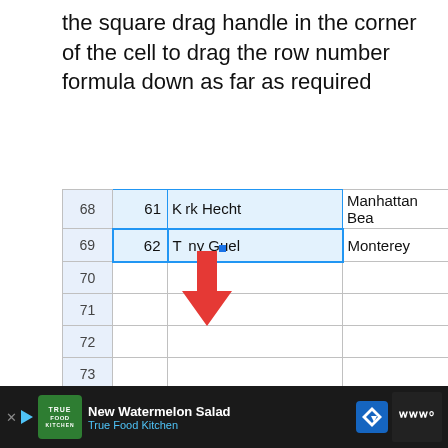the square drag handle in the corner of the cell to drag the row number formula down as far as required
[Figure (screenshot): Screenshot of a Google Sheets spreadsheet showing rows 61–73 with row numbers, sequence numbers (54–62), names (Taylor Ferrera, Jettie Struthers, Collette Madry, Elaina Elsasser, Kaila Roca, Tisha Greggs, Shawna Gang, Kirk Hecht, Tony Guel), and cities (Aurora, Orlando, Lubbock, Kansas City, St. Paul, Berkeley, Soda Springs, Manhattan Bea, Monterey). A red downward arrow indicates dragging the fill handle at the bottom of the selected range. Rows 70–73 are empty. A reCAPTCHA widget appears in the top-right corner.]
[Figure (screenshot): Advertisement bar at the bottom showing True Food Kitchen ad for New Watermelon Salad with logo, navigation arrow icon, and a menu icon on the right.]